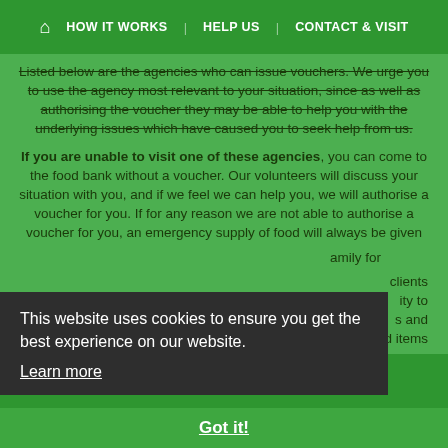🏠 HOW IT WORKS   HELP US   CONTACT & VISIT
Listed below are the agencies who can issue vouchers. We urge you to use the agency most relevant to your situation, since as well as authorising the voucher they may be able to help you with the underlying issues which have caused you to seek help from us.
If you are unable to visit one of these agencies, you can come to the food bank without a voucher. Our volunteers will discuss your situation with you, and if we feel we can help you, we will authorise a voucher for you. If for any reason we are not able to authorise a voucher for you, an emergency supply of food will always be given
...amily for
...clients ...ity to ...s and household items
This website uses cookies to ensure you get the best experience on our website. Learn more
Got it!